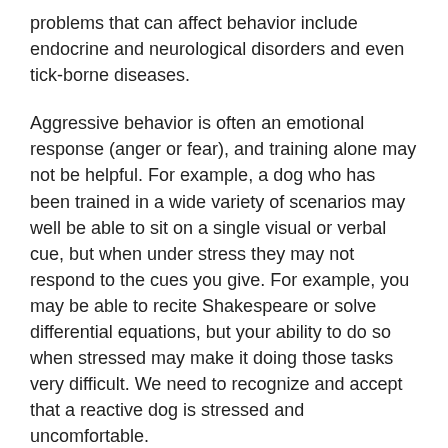problems that can affect behavior include endocrine and neurological disorders and even tick-borne diseases.
Aggressive behavior is often an emotional response (anger or fear), and training alone may not be helpful. For example, a dog who has been trained in a wide variety of scenarios may well be able to sit on a single visual or verbal cue, but when under stress they may not respond to the cues you give. For example, you may be able to recite Shakespeare or solve differential equations, but your ability to do so when stressed may make it doing those tasks very difficult. We need to recognize and accept that a reactive dog is stressed and uncomfortable.
If your veterinarian rules out a medical reason for your dog's behavior, you will want to seek the assistance of a professional credentialed to work with behavior cases. There are three levels of professionals to consider.
At the top of the list is a Diplomat of the American College of